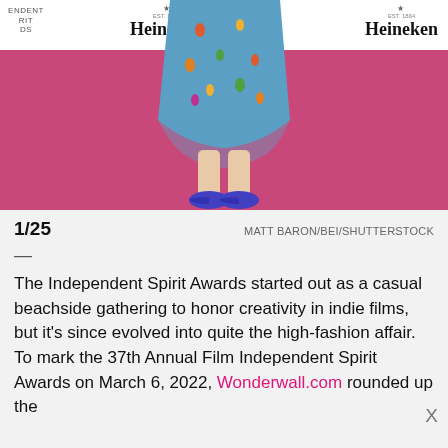[Figure (photo): Red carpet photo showing lower body of a person wearing a blue patterned midi dress and purple/blue pointed heels, standing on a bright pink carpet. Heineken branded banner visible in the background. Spirit Awards logo partially visible on left.]
1/25   MATT BARON/BEI/SHUTTERSTOCK
—
The Independent Spirit Awards started out as a casual beachside gathering to honor creativity in indie films, but it's since evolved into quite the high-fashion affair. To mark the 37th Annual Film Independent Spirit Awards on March 6, 2022, Wonderwall.com rounded up the